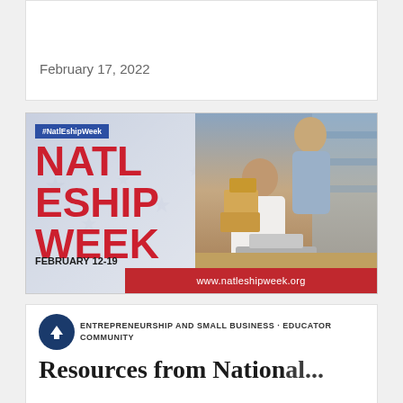February 17, 2022
[Figure (infographic): National Entrepreneurship Week banner with hashtag #NatlEshipWeek, bold red text reading NATL ESHIP WEEK, date FEBRUARY 12-19, stars background on left, photo of two people working with shipping boxes and laptop on right, red bar at bottom with www.natleshipweek.org]
ENTREPRENEURSHIP AND SMALL BUSINESS • EDUCATOR COMMUNITY
Resources from National...